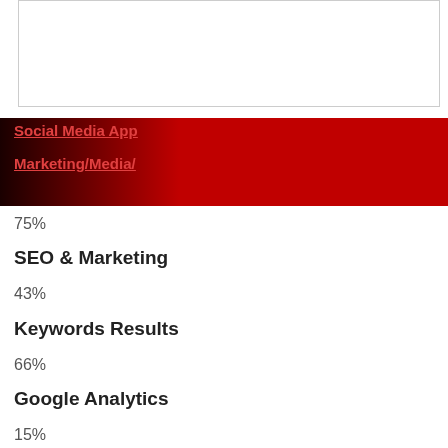[Figure (other): White box with border at top of page]
Social Media App
Marketing/Media/
75%
SEO & Marketing
43%
Keywords Results
66%
Google Analytics
15%